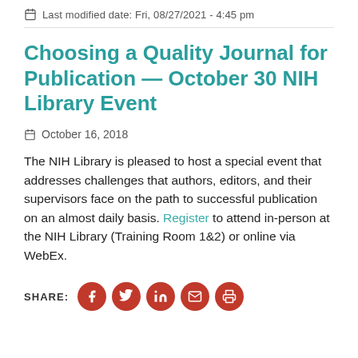Last modified date: Fri, 08/27/2021 - 4:45 pm
Choosing a Quality Journal for Publication — October 30 NIH Library Event
October 16, 2018
The NIH Library is pleased to host a special event that addresses challenges that authors, editors, and their supervisors face on the path to successful publication on an almost daily basis. Register to attend in-person at the NIH Library (Training Room 1&2) or online via WebEx.
SHARE: [Facebook] [Twitter] [LinkedIn] [Email] [Print]